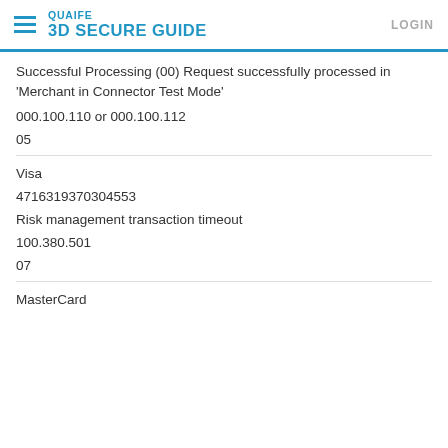QUAIFE 3D SECURE GUIDE — LOGIN
Successful Processing (00) Request successfully processed in 'Merchant in Connector Test Mode'
000.100.110 or 000.100.112
05
Visa
4716319370304553
Risk management transaction timeout
100.380.501
07
MasterCard